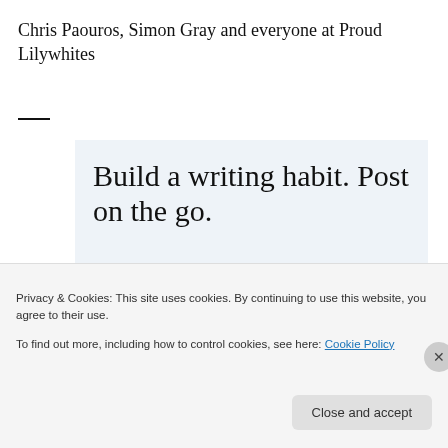Chris Paouros, Simon Gray and everyone at Proud Lilywhites
[Figure (infographic): WordPress advertisement banner with light blue background. Large serif text reads 'Build a writing habit. Post on the go.' Below is a call-to-action 'GET THE APP' in blue uppercase letters and a WordPress circular logo icon on a blue rounded square background.]
Privacy & Cookies: This site uses cookies. By continuing to use this website, you agree to their use.
To find out more, including how to control cookies, see here: Cookie Policy